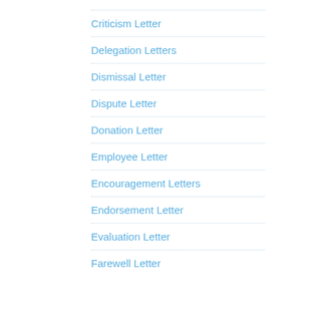Criticism Letter
Delegation Letters
Dismissal Letter
Dispute Letter
Donation Letter
Employee Letter
Encouragement Letters
Endorsement Letter
Evaluation Letter
Farewell Letter